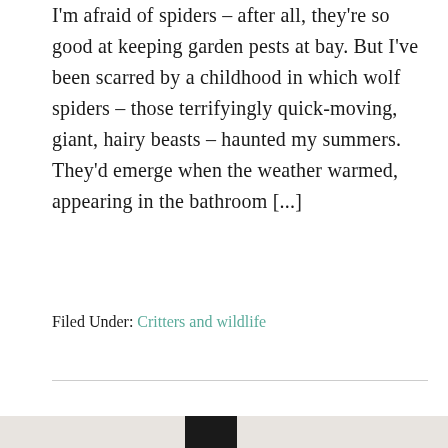I'm afraid of spiders – after all, they're so good at keeping garden pests at bay. But I've been scarred by a childhood in which wolf spiders – those terrifyingly quick-moving, giant, hairy beasts – haunted my summers. They'd emerge when the weather warmed, appearing in the bathroom [...]
Filed Under: Critters and wildlife